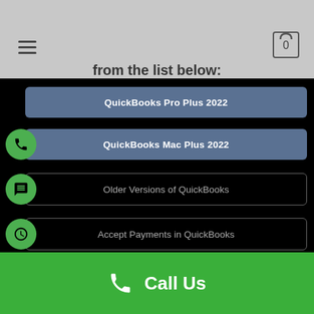from the list below:
QuickBooks Pro Plus 2022
QuickBooks Mac Plus 2022
Older Versions of QuickBooks
Accept Payments in QuickBooks
Payroll Services
QuickBooks Point of Sale v19
Call Us